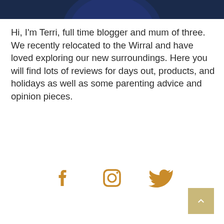[Figure (photo): Top portion of a circular profile photo showing a dark navy/blue colored image, cropped at the bottom]
Hi, I'm Terri, full time blogger and mum of three. We recently relocated to the Wirral and have loved exploring our new surroundings. Here you will find lots of reviews for days out, products, and holidays as well as some parenting advice and opinion pieces.
[Figure (infographic): Three social media icons in golden/amber color: Facebook, Instagram, and Twitter]